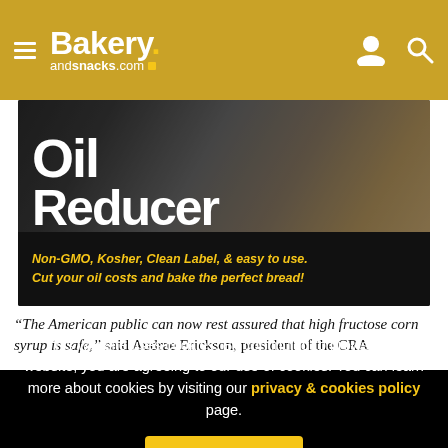BakeryandSnacks.com
[Figure (photo): Advertisement banner for an oil reducer product. Shows large white text 'Oil Reducer' over a dark bakery background with bread and flour. Bottom section has black background with yellow italic text: 'Non-GMO, Kosher, Clean Label, & easy to use. Cut your oil costs and bake the perfect bread!']
“The American public can now rest assured that high fructose corn syrup is safe,” said Audrae Erickson, president of the CRA
This website uses cookies. By continuing to browse our website, you are agreeing to our use of cookies. You can learn more about cookies by visiting our privacy & cookies policy page.